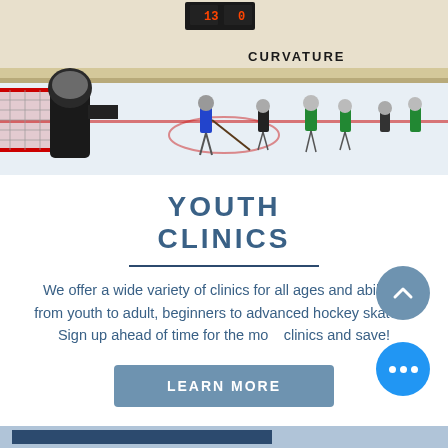[Figure (photo): Ice hockey rink scene with goalie in foreground, players skating and practicing in background. 'CURVATURE' text visible on the boards.]
YOUTH CLINICS
We offer a wide variety of clinics for all ages and abilities from youth to adult, beginners to advanced hockey skaters. Sign up ahead of time for the most clinics and save!
LEARN MORE